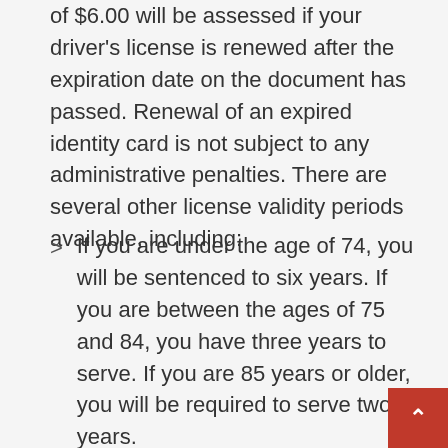of $6.00 will be assessed if your driver's license is renewed after the expiration date on the document has passed. Renewal of an expired identity card is not subject to any administrative penalties. There are several other license validity periods available, including:
If you are under the age of 74, you will be sentenced to six years. If you are between the ages of 75 and 84, you have three years to serve. If you are 85 years or older, you will be required to serve two years.